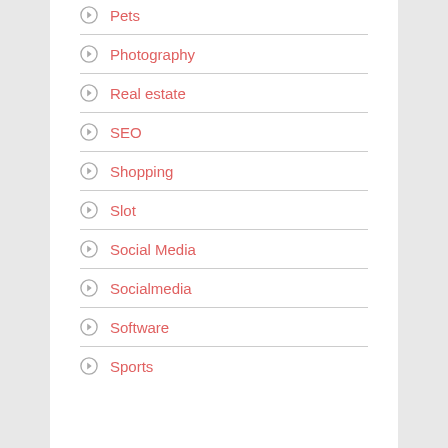Pets
Photography
Real estate
SEO
Shopping
Slot
Social Media
Socialmedia
Software
Sports